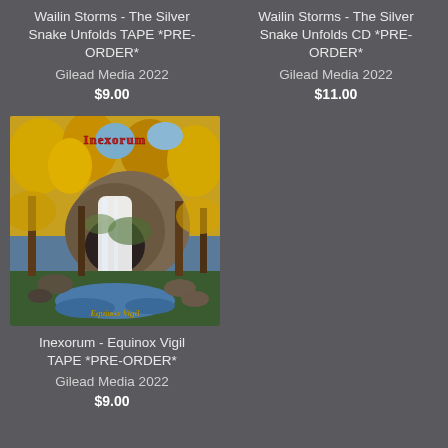Wailin Storms - The Silver Snake Unfolds TAPE *PRE-ORDER*
Gilead Media 2022
$9.00
Wailin Storms - The Silver Snake Unfolds CD *PRE-ORDER*
Gilead Media 2022
$11.00
[Figure (illustration): Album cover for Inexorum - Equinox Vigil: fantasy painting of a waterfall in an autumn forest with golden trees, mossy rocks, and a stream, with the band name in ornate red lettering at the top and 'Equinox Vigil' in yellow script at the bottom.]
Inexorum - Equinox Vigil TAPE *PRE-ORDER*
Gilead Media 2022
$9.00